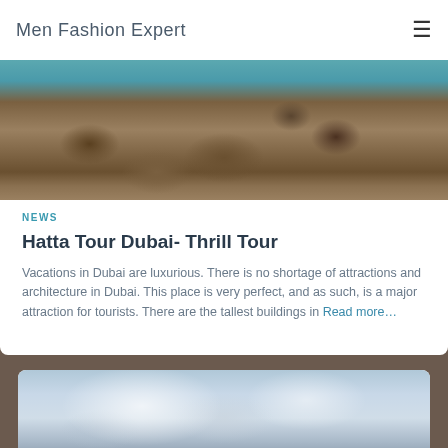Men Fashion Expert
[Figure (photo): Rocky stone wall with turquoise water visible at the top, Hatta Dubai landscape]
NEWS
Hatta Tour Dubai- Thrill Tour
Vacations in Dubai are luxurious. There is no shortage of attractions and architecture in Dubai. This place is very perfect, and as such, is a major attraction for tourists. There are the tallest buildings in Read more…
[Figure (photo): Cloudy sky with dark mountain silhouettes below, second article image]